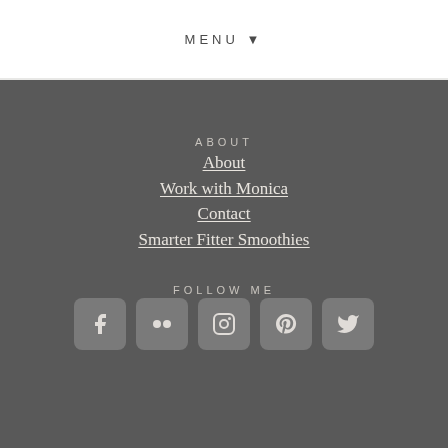MENU ▼
ABOUT
About
Work with Monica
Contact
Smarter Fitter Smoothies
FOLLOW ME
[Figure (infographic): Row of 5 social media icons: Facebook, Flickr, Instagram, Pinterest, Twitter]